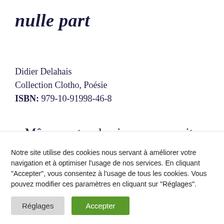nulle part
Didier Delahais
Collection Clotho, Poésie
ISBN: 979-10-91998-46-8
« Même un tas de pierres ne serait-ce qu'un tas de pierres ça m'ira. Je vais aller chercher des
Notre site utilise des cookies nous servant à améliorer votre navigation et à optimiser l'usage de nos services. En cliquant "Accepter", vous consentez à l'usage de tous les cookies. Vous pouvez modifier ces paramètres en cliquant sur "Réglages".